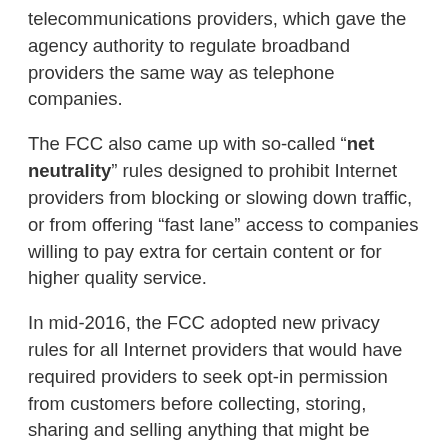telecommunications providers, which gave the agency authority to regulate broadband providers the same way as telephone companies.
The FCC also came up with so-called "net neutrality" rules designed to prohibit Internet providers from blocking or slowing down traffic, or from offering “fast lane” access to companies willing to pay extra for certain content or for higher quality service.
In mid-2016, the FCC adopted new privacy rules for all Internet providers that would have required providers to seek opt-in permission from customers before collecting, storing, sharing and selling anything that might be considered sensitive — including Web browsing, application usage and location information, as well as financial and health data.